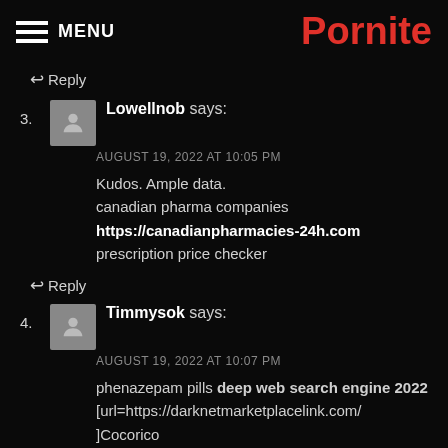MENU | Pornite
↩Reply
3. Lowellnob says: AUGUST 19, 2022 AT 10:05 PM — Kudos. Ample data. canadian pharma companies https://canadianpharmacies-24h.com prescription price checker
↩Reply
4. Timmysok says: AUGUST 19, 2022 AT 10:07 PM — phenazepam pills deep web search engine 2022 [url=https://darknetmarketplacelink.com/ ]Cocorico darknet Market [/url]